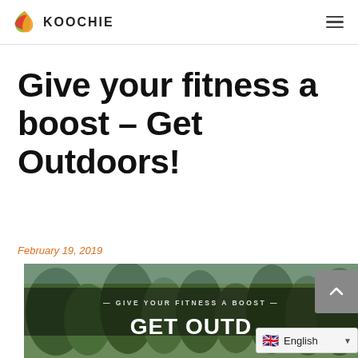KOOCHIE
Give your fitness a boost – Get Outdoors!
February 19, 2019
[Figure (photo): Outdoor fitness promotional image with text 'GIVE YOUR FITNESS A BOOST - GET OUTD...' overlaid on trees background]